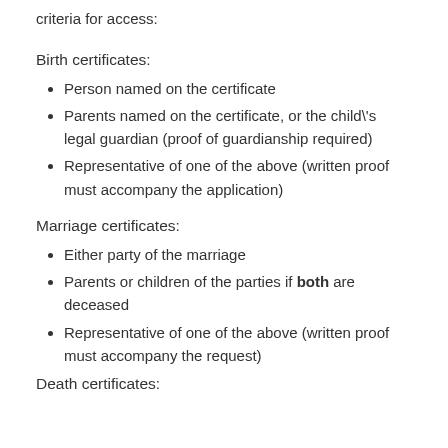criteria for access:
Birth certificates:
Person named on the certificate
Parents named on the certificate, or the child\'s legal guardian (proof of guardianship required)
Representative of one of the above (written proof must accompany the application)
Marriage certificates:
Either party of the marriage
Parents or children of the parties if both are deceased
Representative of one of the above (written proof must accompany the request)
Death certificates: